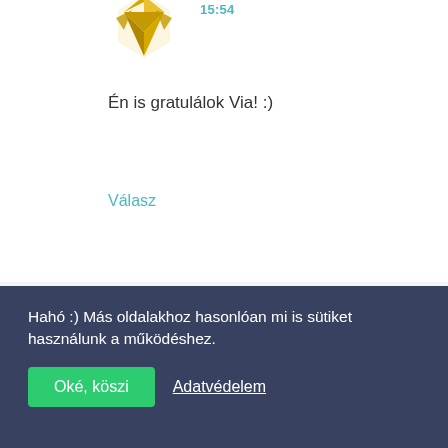[Figure (illustration): Diamond/gem-shaped avatar icon in gold/yellow color for a user comment]
15:54
Én is gratulálok Via! :)
Válasz
[Figure (illustration): Geometric diamond/square avatar icon in blue color for macska77 user]
macska77 mondta
2011. AUGUSZTUS 23., KEDD, 10:39
Hahó :) Más oldalakhoz hasonlóan mi is sütiket használunk a működéshez.
Oké, köszi
Adatvédelem